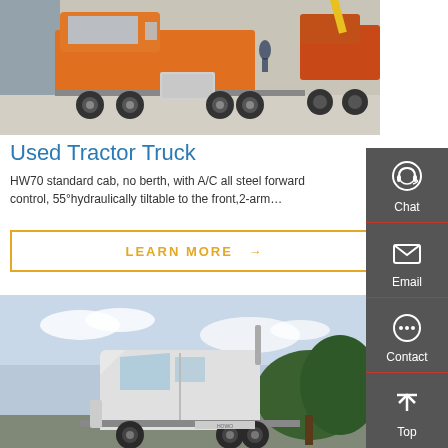[Figure (photo): Row of orange/red heavy tractor trucks parked in a lot, side view showing chassis and wheels]
Used Tractor Truck
HW70 standard cab, no berth, with A/C all steel forward control, 55°hydraulically tiltable to the front,2-arm…
LEARN MORE →
[Figure (photo): White heavy tractor truck cab facing left with trees and sky in background]
Chat
Email
Contact
Top